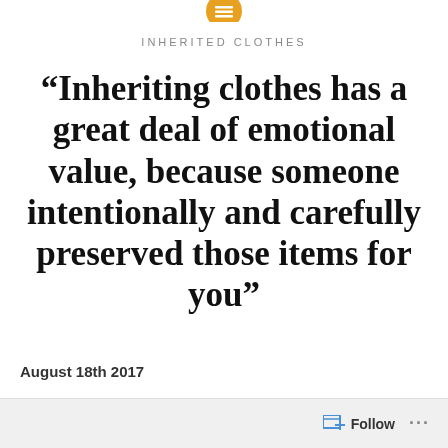[Figure (logo): Gold/yellow circular icon with horizontal lines (blog logo) at top center]
INHERITED CLOTHES
“Inheriting clothes has a great deal of emotional value, because someone intentionally and carefully preserved those items for you”
August 18th 2017
Follow ...